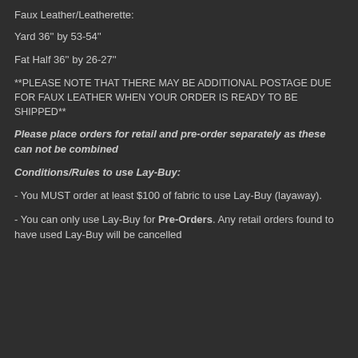Faux Leather/Leatherette:
Yard 36'' by 53-54''
Fat Half 36'' by 26-27''
**PLEASE NOTE THAT THERE MAY BE ADDITIONAL POSTAGE DUE FOR FAUX LEATHER WHEN YOUR ORDER IS READY TO BE SHIPPED**
Please place orders for retail and pre-order separately as these can not be combined
Conditions/Rules to use Lay-Buy:
- You MUST order at least $100 of fabric to use Lay-Buy (layaway).
- You can only use Lay-Buy for Pre-Orders. Any retail orders found to have used Lay-Buy will be cancelled